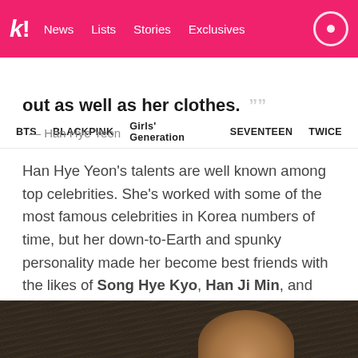k! News  Lists  Stories  Exclusives
BTS  BLACKPINK  Girls' Generation  SEVENTEEN  TWICE
out as well as her clothes. ””
— Han Hye Yeon
Han Hye Yeon’s talents are well known among top celebrities. She’s worked with some of the most famous celebrities in Korea numbers of time, but her down-to-Earth and spunky personality made her become best friends with the likes of Song Hye Kyo, Han Ji Min, and more!
[Figure (photo): Bottom portion of a photo showing a person with dark hair]